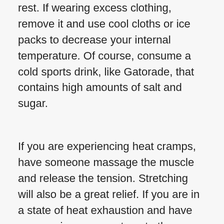rest. If wearing excess clothing, remove it and use cool cloths or ice packs to decrease your internal temperature. Of course, consume a cold sports drink, like Gatorade, that contains high amounts of salt and sugar.
If you are experiencing heat cramps, have someone massage the muscle and release the tension. Stretching will also be a great relief. If you are in a state of heat exhaustion and have seen no improvement, go to the emergency room. You will be given fluids intravenously.